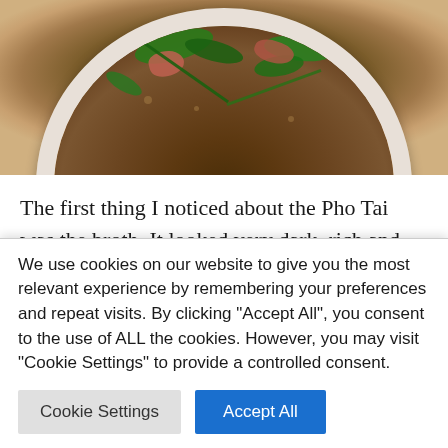[Figure (photo): A bowl of Pho Tai with dark rich broth, garnished with fresh green herbs (cilantro, scallions), red meat slices visible in the broth, served in a white bowl on a light surface.]
The first thing I noticed about the Pho Tai was the broth. It looked very dark, rich and full of flavor. The garnishes were also extremely fresh. Always look to the sprouts for
We use cookies on our website to give you the most relevant experience by remembering your preferences and repeat visits. By clicking "Accept All", you consent to the use of ALL the cookies. However, you may visit "Cookie Settings" to provide a controlled consent.